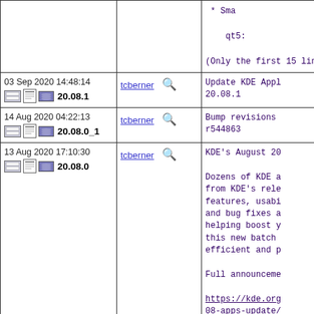| Date/Version | Author | Description |
| --- | --- | --- |
| (partial top row) | tcberner | * Sma
qt5:
(Only the first 15 line |
| 03 Sep 2020 14:48:14
20.08.1 | tcberner | Update KDE Appl
20.08.1 |
| 14 Aug 2020 04:22:13
20.08.0_1 | tcberner | Bump revisions
r544863 |
| 13 Aug 2020 17:10:30
20.08.0 | tcberner | KDE's August 20

Dozens of KDE a
from KDE's rele
features, usabi
and bug fixes a
helping boost y
this new batch
efficient and p

Full announceme

https://kde.org
08-apps-update/ |
| 09 Jul 2020 21:04:42
20.04.3_2 | tcberner | Update KDE's Ap
20.04.3 |